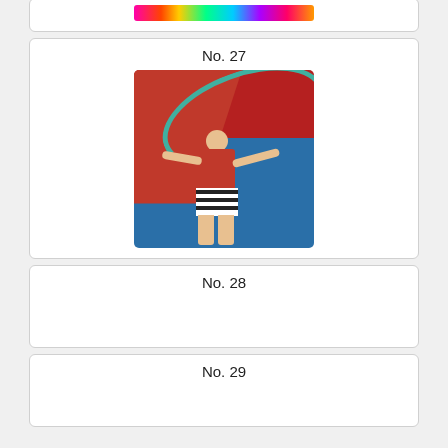[Figure (photo): Partial card at top showing colorful neon swirls image (cropped, top of page)]
No. 27
[Figure (photo): Person with short blonde hair wearing a red top and black-and-white striped shorts, arms outstretched holding a teal hula hoop, against a red and blue background]
No. 28
No. 29